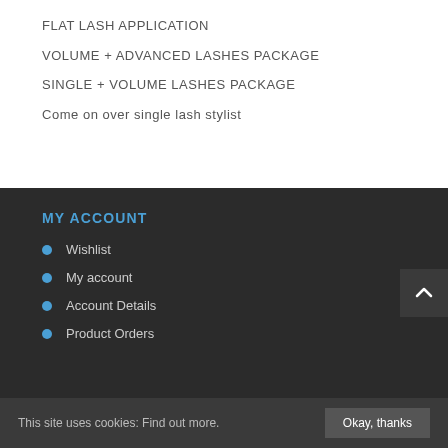FLAT LASH APPLICATION
VOLUME + ADVANCED LASHES PACKAGE
SINGLE + VOLUME LASHES PACKAGE
Come on over single lash stylist
MY ACCOUNT
Wishlist
My account
Account Details
Product Orders
This site uses cookies: Find out more.
Okay, thanks